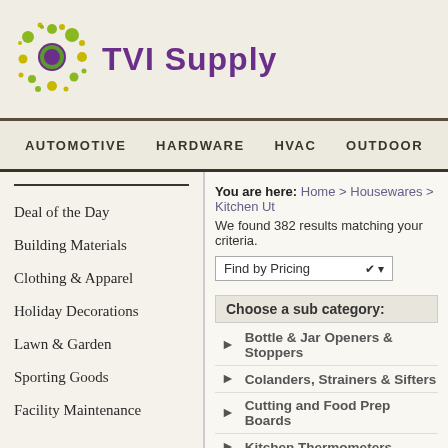[Figure (logo): TVI Supply logo with decorative sun/circle design in green, yellow, and purple]
TVI Supply
AUTOMOTIVE   HARDWARE   HVAC   OUTDOOR
Deal of the Day
Building Materials
Clothing & Apparel
Holiday Decorations
Lawn & Garden
Sporting Goods
Facility Maintenance
You are here: Home > Housewares > Kitchen Ut
We found 382 results matching your criteria.
Find by Pricing
Choose a sub category:
Bottle & Jar Openers & Stoppers
Colanders, Strainers & Sifters
Cutting and Food Prep Boards
Kitchen Thermometers
Knives & Shears
Mixing Bowls
Pasta & Pizza Tools
Peelers & Graters
Shakers & Grinders